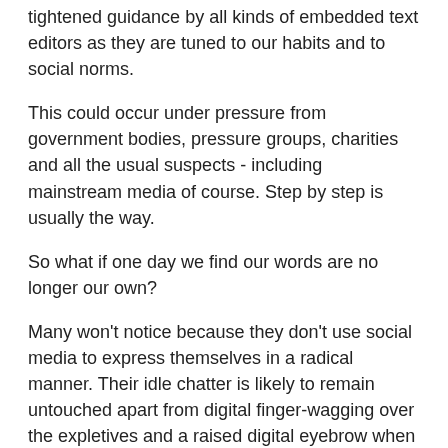tightened guidance by all kinds of embedded text editors as they are tuned to our habits and to social norms.
This could occur under pressure from government bodies, pressure groups, charities and all the usual suspects - including mainstream media of course. Step by step is usually the way.
So what if one day we find our words are no longer our own?
Many won't notice because they don't use social media to express themselves in a radical manner. Their idle chatter is likely to remain untouched apart from digital finger-wagging over the expletives and a raised digital eyebrow when the ramblings become particularly incoherent.
What do you think?
Feel free to comment.
For now.